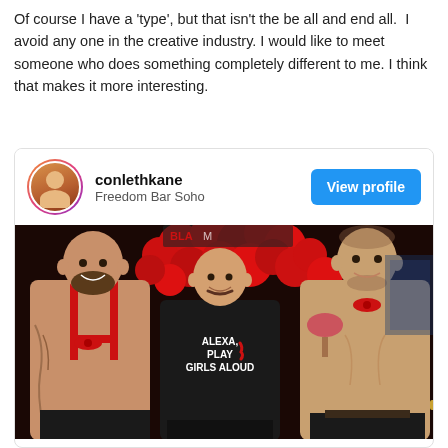Of course I have a 'type', but that isn't the be all and end all. I avoid any one in the creative industry. I would like to meet someone who does something completely different to me. I think that makes it more interesting.
[Figure (screenshot): Social media profile card showing username 'conlethkane', location 'Freedom Bar Soho', a 'View profile' button, and a photo of three men at a red-balloon themed party event.]